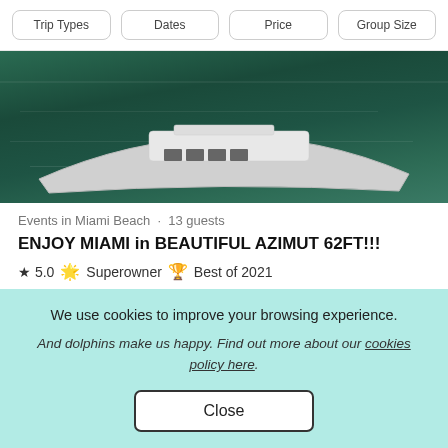Trip Types  Dates  Price  Group Size
[Figure (photo): Aerial view of a white yacht/boat on dark green water, partially cropped at top]
Events in Miami Beach · 13 guests
ENJOY MIAMI in BEAUTIFUL AZIMUT 62FT!!!
★ 5.0  🎖 Superowner  🏆 Best of 2021
We use cookies to improve your browsing experience. And dolphins make us happy. Find out more about our cookies policy here.
Close